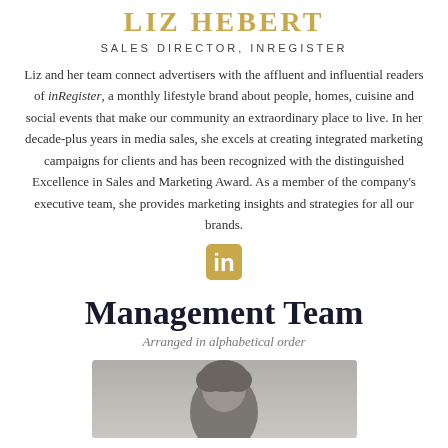LIZ HEBERT
SALES DIRECTOR, INREGISTER
Liz and her team connect advertisers with the affluent and influential readers of inRegister, a monthly lifestyle brand about people, homes, cuisine and social events that make our community an extraordinary place to live. In her decade-plus years in media sales, she excels at creating integrated marketing campaigns for clients and has been recognized with the distinguished Excellence in Sales and Marketing Award. As a member of the company's executive team, she provides marketing insights and strategies for all our brands.
[Figure (logo): LinkedIn 'in' icon in gold/amber color]
Management Team
Arranged in alphabetical order
[Figure (photo): Black and white headshot photo of a person, cropped at the bottom of the page]